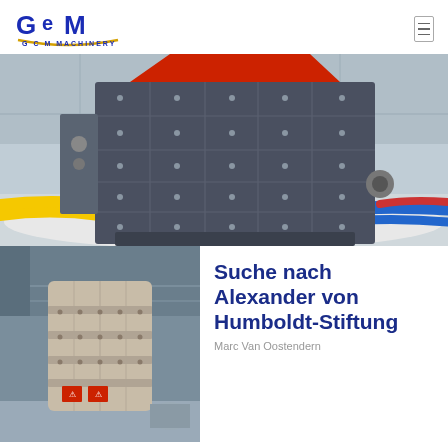[Figure (logo): GCM Machinery logo with blue stylized G-C-M letters and gold underline, text 'G C M  MACHINERY' below]
[Figure (photo): Large industrial impact crusher / heavy machinery with dark grey gridded body and red inlet, displayed in a warehouse setting with colorful pipes and white aggregate material on the floor]
[Figure (photo): Industrial vertical mill / grinding machine in a factory, beige cylindrical body with bolted segments and red safety warning labels]
Suche nach Alexander von Humboldt-Stiftung
Marc Van Oostendern